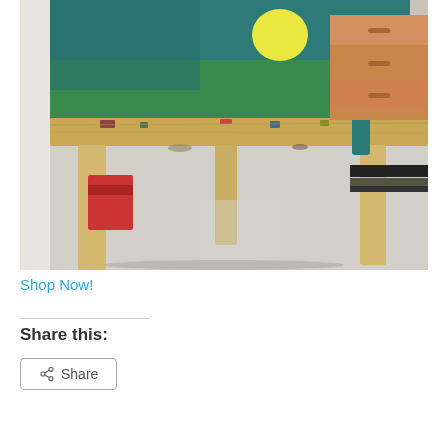[Figure (photo): Close-up photo of a wooden artist's easel with a painting showing teal/green colors and a yellow circle. The easel is paint-stained with dried paint in various colors. In the background are wooden furniture drawers, some books/boards, and art supplies on a light gray floor.]
Shop Now!
Share this: